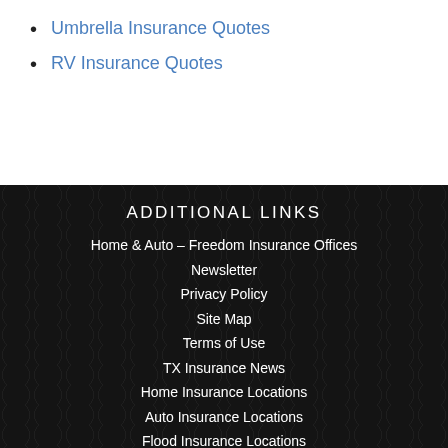Umbrella Insurance Quotes
RV Insurance Quotes
ADDITIONAL LINKS
Home & Auto – Freedom Insurance Offices
Newsletter
Privacy Policy
Site Map
Terms of Use
TX Insurance News
Home Insurance Locations
Auto Insurance Locations
Flood Insurance Locations